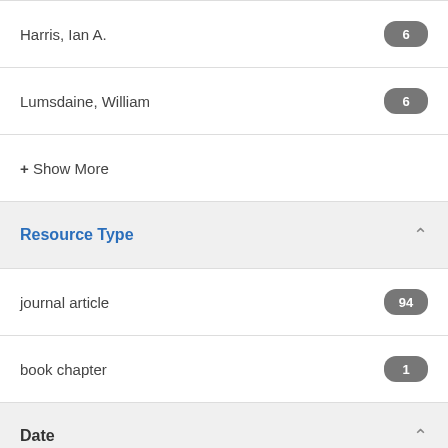Harris, Ian A.
Lumsdaine, William
+ Show More
Resource Type
journal article
book chapter
Date
2013
2012
2017
2014